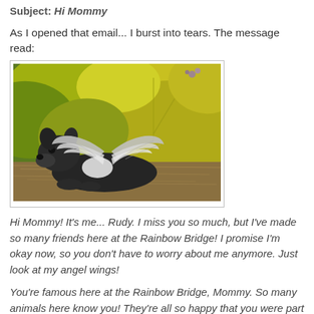Subject: Hi Mommy
As I opened that email... I burst into tears. The message read:
[Figure (photo): A black dog figurine or statue with angel wings, lying among large yellow-green autumn leaves and straw/hay on the ground.]
Hi Mommy! It's me... Rudy. I miss you so much, but I've made so many friends here at the Rainbow Bridge! I promise I'm okay now, so you don't have to worry about me anymore. Just look at my angel wings!
You're famous here at the Rainbow Bridge, Mommy. So many animals here know you! They're all so happy that you were part of their lives, and they love you so very much. Each of them asked me to thank you... for loving them when